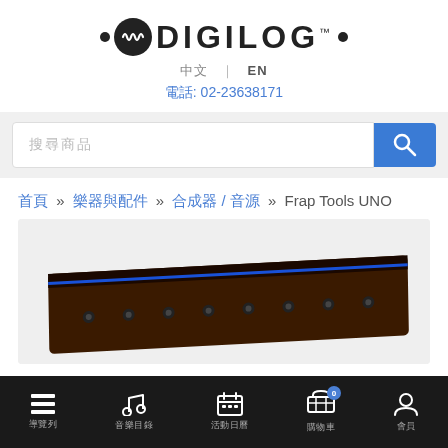[Figure (logo): DIGILOG logo with circular waveform icon, dots on left and right, TM mark]
中文 | EN
電話: 02-23638171
[Figure (screenshot): Search bar with placeholder text and blue search button with magnifying glass icon]
首頁 » 樂器與配件 » 合成器 / 音源 » Frap Tools UNO
[Figure (photo): Product image of Frap Tools UNO synthesizer on light gray background]
導覽列 音樂目錄 活動日曆 購物車 0 會員中心